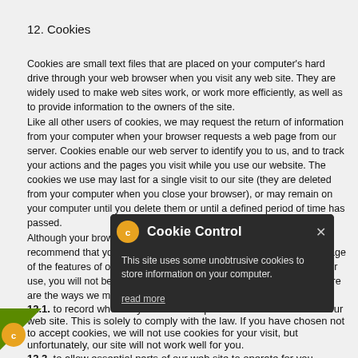12. Cookies
Cookies are small text files that are placed on your computer's hard drive through your web browser when you visit any web site. They are widely used to make web sites work, or work more efficiently, as well as to provide information to the owners of the site. Like all other users of cookies, we may request the return of information from your computer when your browser requests a web page from our server. Cookies enable our web server to identify you to us, and to track your actions and the pages you visit while you use our website. The cookies we use may last for a single visit to our site (they are deleted from your computer when you close your browser), or may remain on your computer until you delete them or until a defined period of time has passed. Although your browser software enables you to disable cookies, we recommend that you allow the use of cookies in order to take advantage of the features of our website that rely on their use. If you prevent their use, you will not be able to use all the functionality of our website. Here are the ways we may use cookies:
12.1. to record whether you have accepted the use of cookies on our web site. This is solely to comply with the law. If you have chosen not to accept cookies, we will not use cookies for your visit, but unfortunately, our site will not work well for you.
12.2. to allow essential parts of our web site to operate for you.
12.3. to operate our content management system.
12.4. to operate the online notification form – the form that you use to contact us for any reason. This cookie is set on your arrival at our web and deleted when you close your browser.